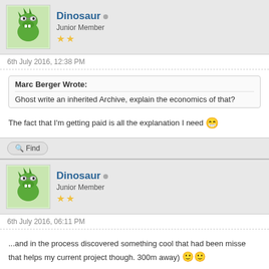[Figure (illustration): Forum post header with dinosaur avatar, username Dinosaur, Junior Member, 2 stars]
Dinosaur
Junior Member
6th July 2016, 12:38 PM
Marc Berger Wrote: Ghost write an inherited Archive, explain the economics of that?
The fact that I'm getting paid is all the explanation I need 😁
Find
[Figure (illustration): Second forum post header with dinosaur avatar, username Dinosaur, Junior Member, 2 stars]
Dinosaur
Junior Member
6th July 2016, 06:11 PM
...and in the process discovered something cool that had been misse that helps my current project though. 300m away) 🙂🙂